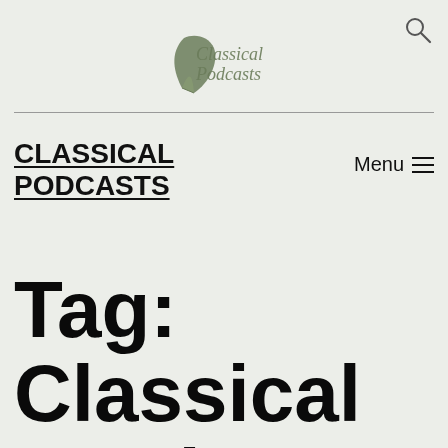[Figure (logo): Classical Podcasts logo with a leaf/feather icon and cursive text reading 'Classical Podcasts']
Menu
CLASSICAL PODCASTS
Tag: Classical music